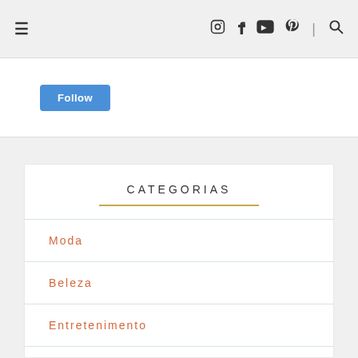≡  (Instagram) (Facebook) (YouTube) (Pinterest) | (Search)
Follow
CATEGORIAS
Moda
Beleza
Entretenimento
Outros Assuntos
Colunas Fixas